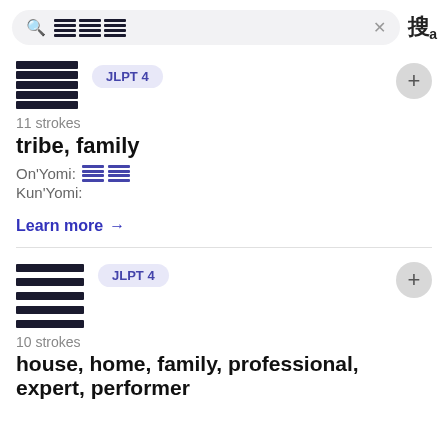[Figure (screenshot): Search bar with kanji input and translate icon]
[Figure (other): Kanji character block (族) with JLPT 4 badge and + button]
11 strokes
tribe, family
On'Yomi: [kana blocks] Kun'Yomi:
Learn more →
[Figure (other): Kanji character block (家) with JLPT 4 badge and + button]
10 strokes
house, home, family, professional, expert, performer